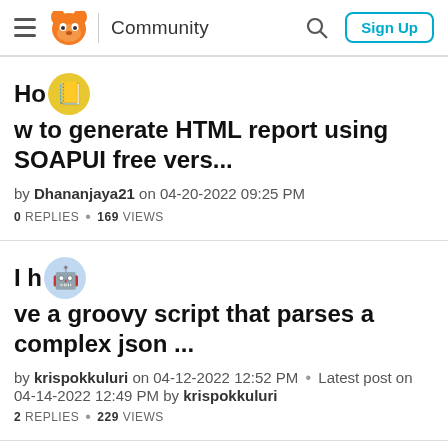Community | Sign Up
How to generate HTML report using SOAPUI free vers...
by Dhananjaya21 on 04-20-2022 09:25 PM
0 REPLIES • 169 VIEWS
I have a groovy script that parses a complex json ...
by krispokkuluri on 04-12-2022 12:52 PM • Latest post on 04-14-2022 12:49 PM by krispokkuluri
2 REPLIES • 229 VIEWS
Is SOAPUI affected by the spring4shell